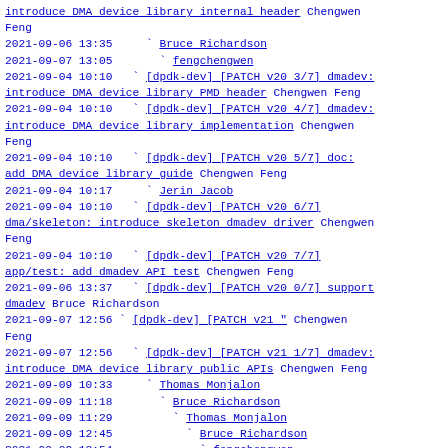introduce DMA device library internal header Chengwen Feng
2021-09-06 13:35       ` Bruce Richardson
2021-09-07 13:05         ` fengchengwen
2021-09-04 10:10   ` [dpdk-dev] [PATCH v20 3/7] dmadev: introduce DMA device library PMD header Chengwen Feng
2021-09-04 10:10   ` [dpdk-dev] [PATCH v20 4/7] dmadev: introduce DMA device library implementation Chengwen Feng
2021-09-04 10:10   ` [dpdk-dev] [PATCH v20 5/7] doc: add DMA device library guide Chengwen Feng
2021-09-04 10:17     ` Jerin Jacob
2021-09-04 10:10   ` [dpdk-dev] [PATCH v20 6/7] dma/skeleton: introduce skeleton dmadev driver Chengwen Feng
2021-09-04 10:10   ` [dpdk-dev] [PATCH v20 7/7] app/test: add dmadev API test Chengwen Feng
2021-09-06 13:37   ` [dpdk-dev] [PATCH v20 0/7] support dmadev Bruce Richardson
2021-09-07 12:56 ` [dpdk-dev] [PATCH v21 " Chengwen Feng
2021-09-07 12:56   ` [dpdk-dev] [PATCH v21 1/7] dmadev: introduce DMA device library public APIs Chengwen Feng
2021-09-09 10:33     ` Thomas Monjalon
2021-09-09 11:18       ` Bruce Richardson
2021-09-09 11:29         ` Thomas Monjalon
2021-09-09 12:45           ` Bruce Richardson
2021-09-09 13:54             ` fengchengwen
2021-09-09 14:26               ` Thomas Monjalon
2021-09-09 14:31                 ` Bruce Richardson
2021-09-09 14:33                   ` Bruce Richardson